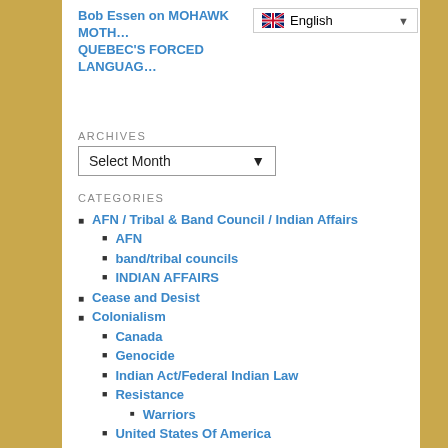Bob Essen on MOHAWK MOTHERS VERSUS QUEBEC'S FORCED LANGUAGE…
ARCHIVES
Select Month
CATEGORIES
AFN / Tribal & Band Council / Indian Affairs
AFN
band/tribal councils
INDIAN AFFAIRS
Cease and Desist
Colonialism
Canada
Genocide
Indian Act/Federal Indian Law
Resistance
Warriors
United States Of America
Corporations/military/industrial/ complex
Great Peace/Law / kaianereh'kowa / Democracy / Two-